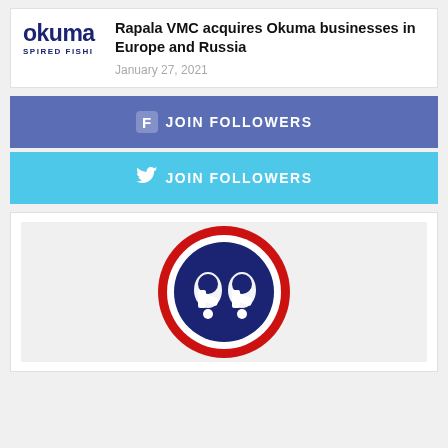[Figure (logo): Okuma fishing brand logo — partial text showing 'okuma' in dark navy, bold font, and 'SPIRED FISHI' text below in caps]
Rapala VMC acquires Okuma businesses in Europe and Russia
January 27, 2021
[Figure (infographic): Facebook JOIN FOLLOWERS button bar — dark blue/purple background with Facebook icon and bold white text JOIN FOLLOWERS]
[Figure (infographic): Twitter JOIN FOLLOWERS button bar — cyan/light blue background with Twitter bird icon and bold white text JOIN FOLLOWERS]
[Figure (logo): Rapala VMC circular logo — blue circle with red ring border, white letter R shapes visible inside, on light grey background]